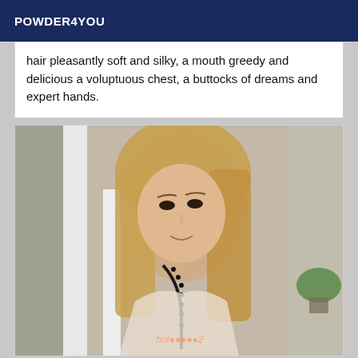POWDER4YOU
hair pleasantly soft and silky, a mouth greedy and delicious a voluptuous chest, a buttocks of dreams and expert hands.
[Figure (photo): Photo of a young blonde woman with long hair, wearing a dark beaded necklace and light top, posed indoors near white pillars with a plant in the background. A watermark is visible at the bottom.]